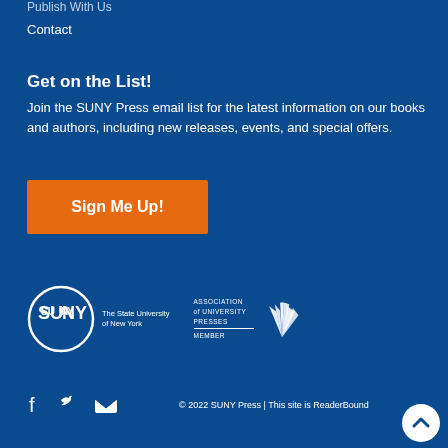Publish With Us
Contact
Get on the List!
Join the SUNY Press email list for the latest information on our books and authors, including new releases, events, and special offers.
Sign Me Up!
[Figure (logo): SUNY - The State University of New York logo in a white circle]
[Figure (logo): Association of University Presses Member logo with fan/rays graphic]
© 2022 SUNY Press | This site is ReaderBound